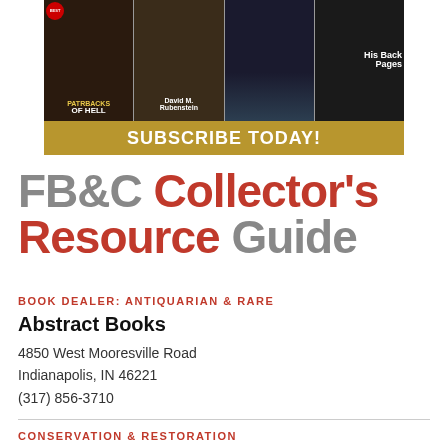[Figure (illustration): Magazine subscription advertisement banner showing four magazine covers above a gold bar reading SUBSCRIBE TODAY!]
FB&C Collector's Resource Guide
BOOK DEALER: ANTIQUARIAN & RARE
Abstract Books
4850 West Mooresville Road
Indianapolis, IN 46221
(317) 856-3710
CONSERVATION & RESTORATION
David Weinstein Bookbinder